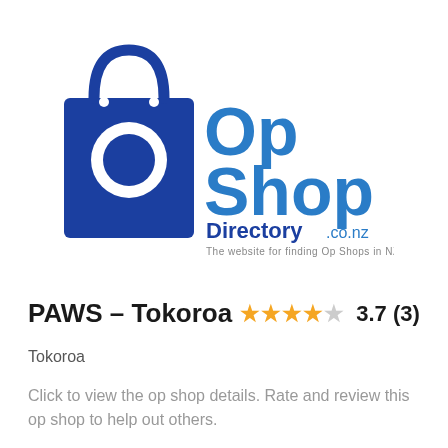[Figure (logo): Op Shop Directory .co.nz logo — blue shopping bag with white circle ring, 'Op Shop' in blue text, 'Directory.co.nz' in smaller blue text, tagline 'The website for finding Op Shops in NZ']
PAWS – Tokoroa  3.7 (3)
Tokoroa
Click to view the op shop details. Rate and review this op shop to help out others.